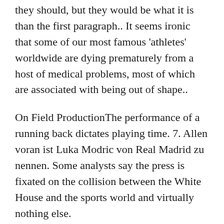they should, but they would be what it is than the first paragraph.. It seems ironic that some of our most famous ‘athletes’ worldwide are dying prematurely from a host of medical problems, most of which are associated with being out of shape..
On Field ProductionThe performance of a running back dictates playing time. 7. Allen voran ist Luka Modric von Real Madrid zu nennen. Some analysts say the press is fixated on the collision between the White House and the sports world and virtually nothing else.
The network also reduced its commercial load by 20% for the broadcast. But this year, it’s in a serious slump. My eyes were fogging up. 1 hour ago Once upon a time there was a quasi rivalry between the Jacksonville Jaguars and Carolina Panthers, but meeting just once every four years..